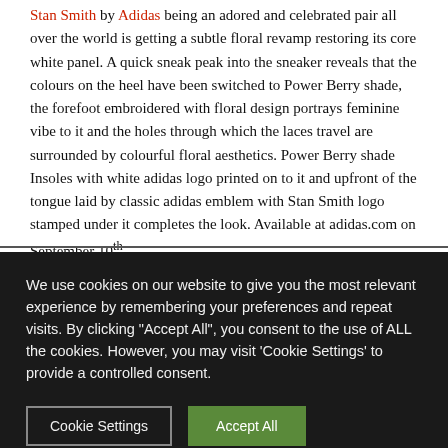Stan Smith by Adidas being an adored and celebrated pair all over the world is getting a subtle floral revamp restoring its core white panel. A quick sneak peak into the sneaker reveals that the colours on the heel have been switched to Power Berry shade, the forefoot embroidered with floral design portrays feminine vibe to it and the holes through which the laces travel are surrounded by colourful floral aesthetics. Power Berry shade Insoles with white adidas logo printed on to it and upfront of the tongue laid by classic adidas emblem with Stan Smith logo stamped under it completes the look. Available at adidas.com on September 10th.
We use cookies on our website to give you the most relevant experience by remembering your preferences and repeat visits. By clicking "Accept All", you consent to the use of ALL the cookies. However, you may visit 'Cookie Settings' to provide a controlled consent.